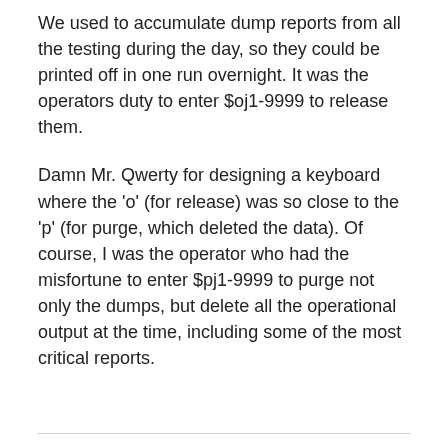We used to accumulate dump reports from all the testing during the day, so they could be printed off in one run overnight. It was the operators duty to enter $oj1-9999 to release them.
Damn Mr. Qwerty for designing a keyboard where the 'o' (for release) was so close to the 'p' (for purge, which deleted the data). Of course, I was the operator who had the misfortune to enter $pj1-9999 to purge not only the dumps, but delete all the operational output at the time, including some of the most critical reports.